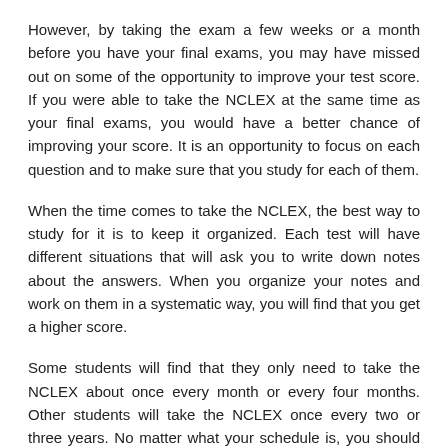However, by taking the exam a few weeks or a month before you have your final exams, you may have missed out on some of the opportunity to improve your test score. If you were able to take the NCLEX at the same time as your final exams, you would have a better chance of improving your score. It is an opportunity to focus on each question and to make sure that you study for each of them.
When the time comes to take the NCLEX, the best way to study for it is to keep it organized. Each test will have different situations that will ask you to write down notes about the answers. When you organize your notes and work on them in a systematic way, you will find that you get a higher score.
Some students will find that they only need to take the NCLEX about once every month or every four months. Other students will take the NCLEX once every two or three years. No matter what your schedule is, you should always remember that you should take the NCLEX exam regularly.
Related posts: